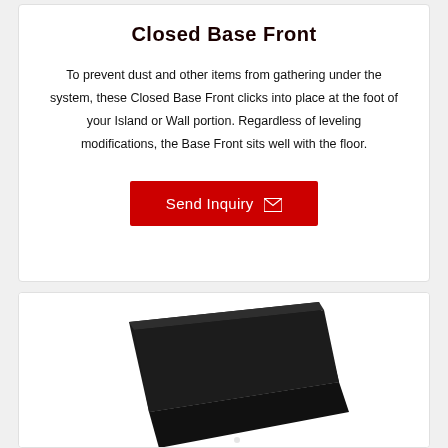Closed Base Front
To prevent dust and other items from gathering under the system, these Closed Base Front clicks into place at the foot of your Island or Wall portion. Regardless of leveling modifications, the Base Front sits well with the floor.
[Figure (other): Red 'Send Inquiry' button with mail envelope icon]
[Figure (photo): Product photo of a dark/black closed base front panel, partially visible at the bottom of the page]